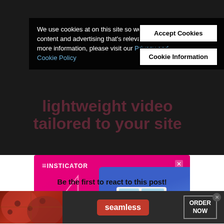We use cookies at on this site so we can serve up content and advertising that's relevant to you. For more information, please visit our Privacy and Cookie Policy
[Figure (screenshot): Cookie consent banner overlay with Accept Cookies and Cookie Information buttons on a dark background with partial video promo text visible underneath]
[Figure (advertisement): Insticator advertisement banner on pink/magenta background showing a car (2020 Ford Explorer) on a tablet-like device with a Learn More button]
Be the first to react to this post!
[Figure (advertisement): Seamless food delivery advertisement banner with pizza image on the left, seamless logo in center, and ORDER NOW button on the right]